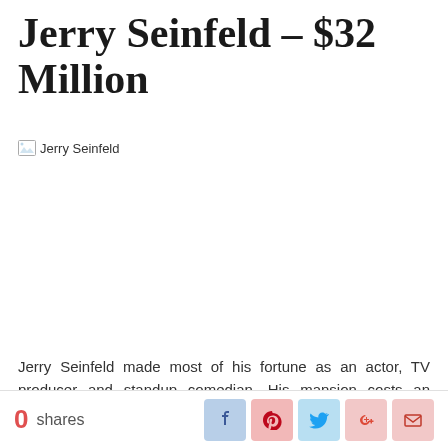Jerry Seinfeld – $32 Million
[Figure (photo): Broken image placeholder for Jerry Seinfeld photo]
Jerry Seinfeld made most of his fortune as an actor, TV producer and standup comedian. His mansion costs an impressive $32 million and is
0 shares